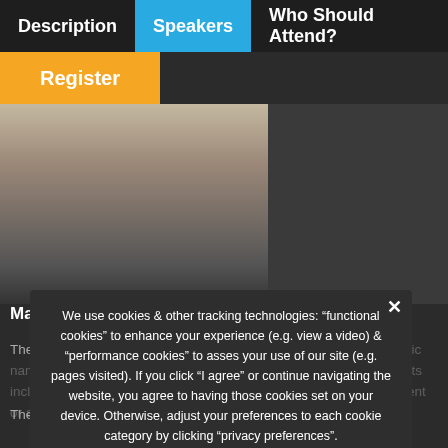Description | Speakers | Who Should Attend?
Register
[Figure (photo): Speaker photo — Mark Wasmuth headshot, partially visible]
Mark Wasmuth – CEO, The GMDN Agency
The Global Medical Device Nomenclature (GMDN) is a list of generic names for types of primary marketed device products. Such products include those used in the diagnosis, prevention, monitoring, treatment or alleviation of disease or injury in humans.
The main purpose of the ... is to provide health
We use cookies & other tracking technologies: "functional cookies" to enhance your experience (e.g. view a video) & "performance cookies" to asses your use of our site (e.g. pages visited). If you click "I agree" or continue navigating the website, you agree to having those cookies set on your device. Otherwise, adjust your preferences to each cookie category by clicking "privacy preferences".
Privacy Preferences
I Agree